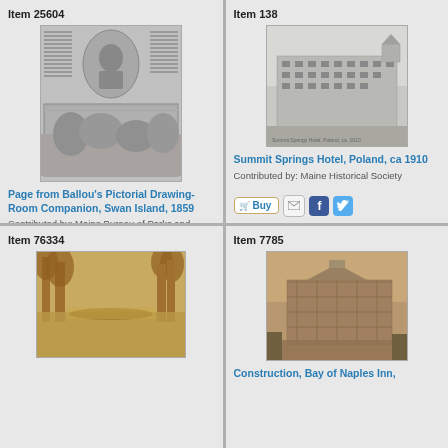Item 25604
[Figure (photo): Page from Ballou's Pictorial Drawing-Room Companion, showing portrait and landscape engraving, Swan Island, 1859]
Page from Ballou's Pictorial Drawing-Room Companion, Swan Island, 1859
Contributed by: Maine Bureau of Parks and Lands
Item 138
[Figure (photo): Summit Springs Hotel, Poland, ca 1910 - historic photograph of large multi-story hotel building]
Summit Springs Hotel, Poland, ca 1910
Contributed by: Maine Historical Society
Item 76334
[Figure (photo): Yellowish/golden toned photograph showing trees and water reflection]
Item 7785
[Figure (photo): Sepia photograph of Construction, Bay of Naples Inn]
Construction, Bay of Naples Inn,